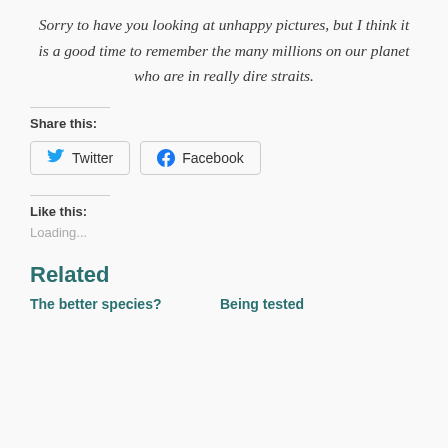Sorry to have you looking at unhappy pictures, but I think it is a good time to remember the many millions on our planet who are in really dire straits.
Share this:
Twitter  Facebook
Like this:
Loading...
Related
The better species?  Being tested